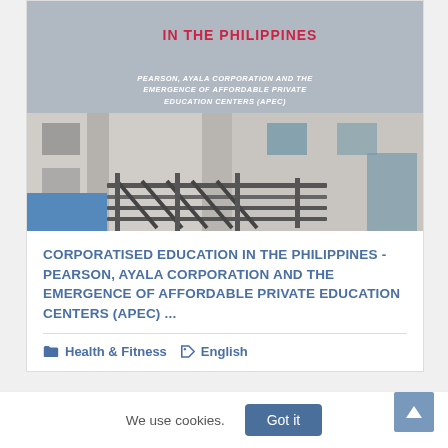[Figure (photo): Book cover image for 'Corporatised Education in the Philippines - Pearson, Ayala Corporation and the Emergence of Affordable Private Education Centers (APEC)'. Shows a building exterior with metal scaffolding/railings against a blue and grey wall.]
CORPORATISED EDUCATION IN THE PHILIPPINES - PEARSON, AYALA CORPORATION AND THE EMERGENCE OF AFFORDABLE PRIVATE EDUCATION CENTERS (APEC) ...
Health & Fitness  English
We use cookies.